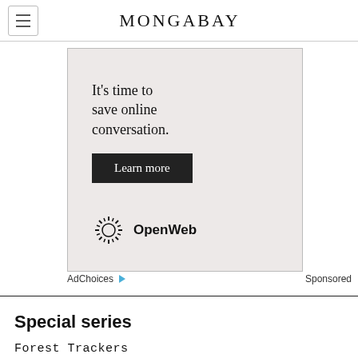MONGABAY
[Figure (screenshot): OpenWeb advertisement: 'It's time to save online conversation. Learn more' with OpenWeb logo on beige background]
AdChoices ▷  Sponsored
Special series
Forest Trackers